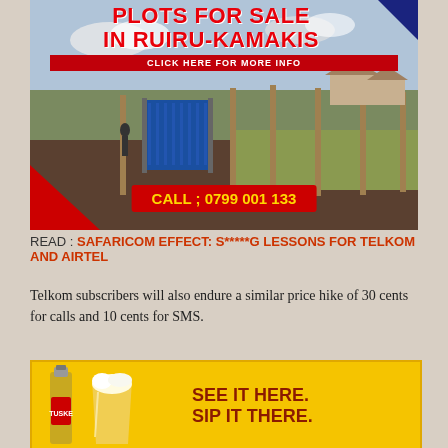[Figure (infographic): Real estate advertisement for plots for sale in Ruiru-Kamakis. Shows a photo of an open land plot with fence posts and a blue gate. Overlaid text reads: PLOTS FOR SALE IN RUIRU-KAMAKIS, CLICK HERE FOR MORE INFO, CALL ; 0799 001 133. Navy blue triangle in top-right corner, red triangle in bottom-left.]
READ : SAFARICOM EFFECT: S*****G LESSONS FOR TELKOM AND AIRTEL
Telkom subscribers will also endure a similar price hike of 30 cents for calls and 10 cents for SMS.
[Figure (infographic): Tusker beer advertisement on a yellow/gold background. Shows a Tusker beer bottle and a full glass of beer on the left. Text on the right reads: SEE IT HERE. SIP IT THERE. in dark red/brown bold text.]